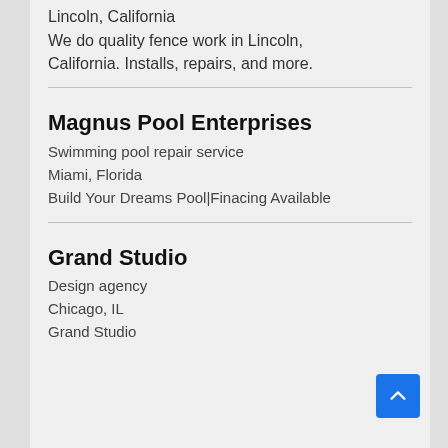Lincoln, California
We do quality fence work in Lincoln, California. Installs, repairs, and more.
Magnus Pool Enterprises
Swimming pool repair service
Miami, Florida
Build Your Dreams Pool|Finacing Available
Grand Studio
Design agency
Chicago, IL
Grand Studio